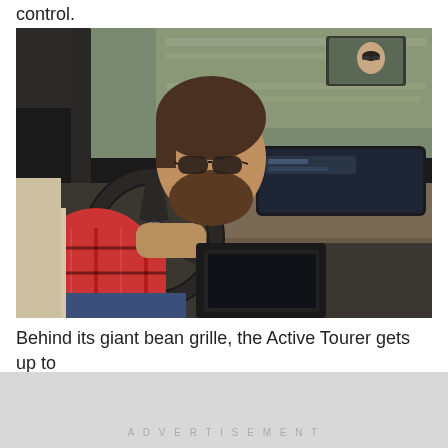control.
[Figure (photo): Man with beard and glasses wearing a red plaid shirt driving a BMW, seated in the driver seat with cream/beige leather interior. He is gripping the steering wheel. A large curved infotainment screen is visible on the center console. The rearview mirror shows his reflection. Background shows blurred outdoor scenery through the windshield.]
Behind its giant bean grille, the Active Tourer gets up to
ADVERTISEMENT